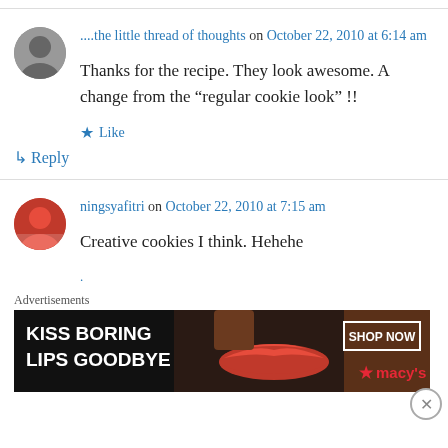....the little thread of thoughts on October 22, 2010 at 6:14 am
Thanks for the recipe. They look awesome. A change from the “regular cookie look” !!
Like
Reply
ningsyafitri on October 22, 2010 at 7:15 am
Creative cookies I think. Hehehe
Advertisements
[Figure (photo): Macy's advertisement banner: woman with red lipstick, text 'KISS BORING LIPS GOODBYE', 'SHOP NOW', Macy's star logo]